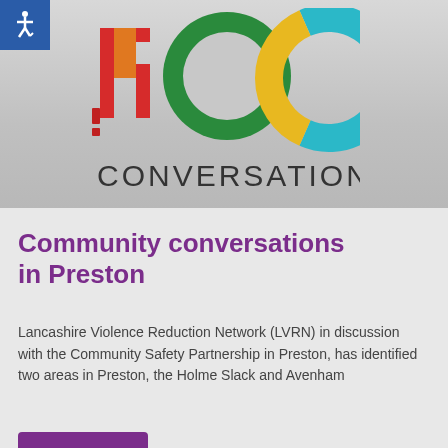[Figure (logo): ROC Conversation logo with colourful letters R, O, C and the word CONVERSATION below, on a grey gradient banner. Also includes a blue accessibility (wheelchair) icon in the top-left corner.]
Community conversations in Preston
Lancashire Violence Reduction Network (LVRN) in discussion with the Community Safety Partnership in Preston, has identified two areas in Preston, the Holme Slack and Avenham